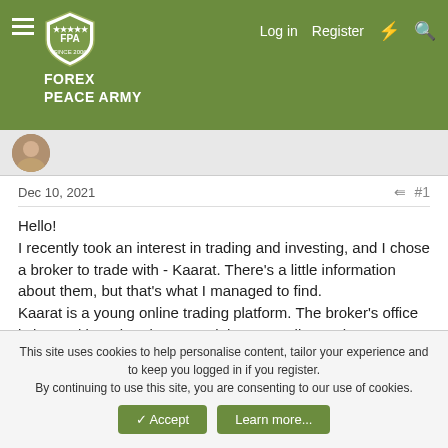FOREX PEACE ARMY — Log in  Register
Dec 10, 2021  #1
Hello!
I recently took an interest in trading and investing, and I chose a broker to trade with - Kaarat. There's a little information about them, but that's what I managed to find.
Kaarat is a young online trading platform. The broker's office is located in Saint Vincent and the Grenadines. The company's exact address is 180 Kingstown, St. Vincent & the Grenadines. Generally, Kaarat is a Forex and CFDs broker, but it supports many other assets trading opportunities:
Currencies:
This site uses cookies to help personalise content, tailor your experience and to keep you logged in if you register.
By continuing to use this site, you are consenting to our use of cookies.